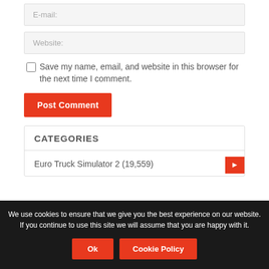E-mail:
Website:
Save my name, email, and website in this browser for the next time I comment.
Post Comment
CATEGORIES
Euro Truck Simulator 2 (19,559)
We use cookies to ensure that we give you the best experience on our website. If you continue to use this site we will assume that you are happy with it.
Ok
Cookie Policy